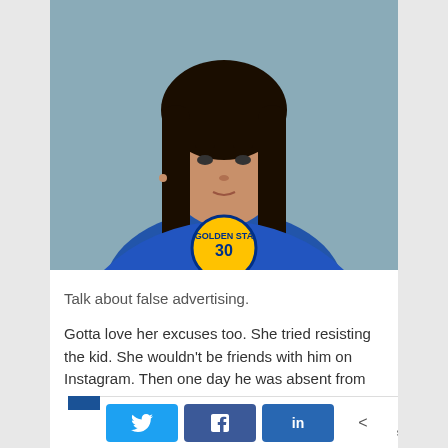[Figure (photo): Mugshot photo of a young woman with long dark hair wearing a blue Golden State Warriors #30 jersey, against a gray-green background.]
Talk about false advertising.
Gotta love her excuses too. She tried resisting the kid. She wouldn't be friends with him on Instagram. Then one day he was absent from